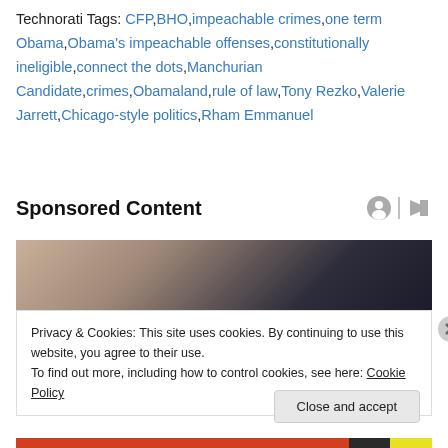Technorati Tags: CFP,BHO,impeachable crimes,one term Obama,Obama's impeachable offenses,constitutionally ineligible,connect the dots,Manchurian Candidate,crimes,Obamaland,rule of law,Tony Rezko,Valerie Jarrett,Chicago-style politics,Rham Emmanuel
Sponsored Content
[Figure (photo): Partial photo of a person with dark hair, appearing to be sitting or leaning, upper body/head visible]
Privacy & Cookies: This site uses cookies. By continuing to use this website, you agree to their use.
To find out more, including how to control cookies, see here: Cookie Policy
Close and accept